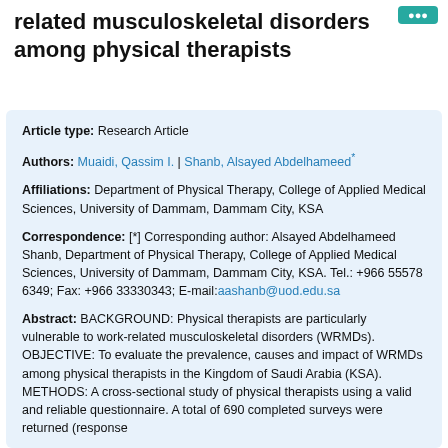related musculoskeletal disorders among physical therapists
Article type: Research Article
Authors: Muaidi, Qassim I. | Shanb, Alsayed Abdelhameed*
Affiliations: Department of Physical Therapy, College of Applied Medical Sciences, University of Dammam, Dammam City, KSA
Correspondence: [*] Corresponding author: Alsayed Abdelhameed Shanb, Department of Physical Therapy, College of Applied Medical Sciences, University of Dammam, Dammam City, KSA. Tel.: +966 55578 6349; Fax: +966 33330343; E-mail:aashanb@uod.edu.sa
Abstract: BACKGROUND: Physical therapists are particularly vulnerable to work-related musculoskeletal disorders (WRMDs). OBJECTIVE: To evaluate the prevalence, causes and impact of WRMDs among physical therapists in the Kingdom of Saudi Arabia (KSA). METHODS: A cross-sectional study of physical therapists using a valid and reliable questionnaire. A total of 690 completed surveys were returned (response